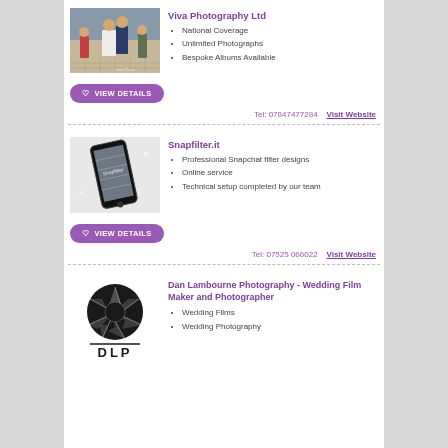[Figure (photo): Wedding couple walking outdoors, man in navy suit, woman in white dress]
Viva Photography Ltd
National Coverage
Unlimited Photographs
Bespoke Albums Available
[Figure (other): Purple rounded button with heart icon and text VIEW DETAILS]
Tel: 07847477284    Visit Website
[Figure (photo): Smartphone with decorative Snapchat filter overlay]
Snapfilter.it
Professional Snapchat filter designs
Online service
Technical setup completed by our team
[Figure (other): Purple rounded button with heart icon and text VIEW DETAILS]
Tel: 07525 066022    Visit Website
[Figure (logo): DLP camera aperture logo - Dan Lambourne Photography]
Dan Lambourne Photography - Wedding Film Maker and Photographer
Wedding Films
Wedding Photography